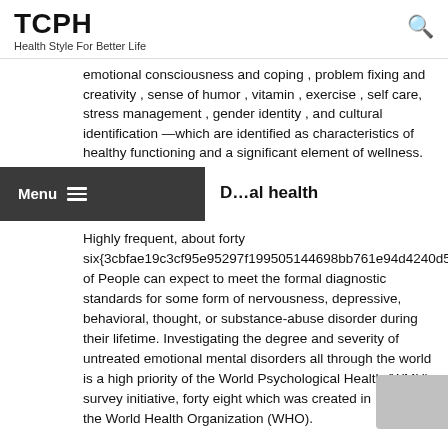TCPH
Health Style For Better Life
emotional consciousness and coping , problem fixing and creativity , sense of humor , vitamin , exercise , self care, stress management , gender identity , and cultural identification —which are identified as characteristics of healthy functioning and a significant element of wellness.
Dental health
Highly frequent, about forty six{3cbfae19c3cf95e95297f199505144698bb761e94d4240d57ed of People can expect to meet the formal diagnostic standards for some form of nervousness, depressive, behavioral, thought, or substance-abuse disorder during their lifetime. Investigating the degree and severity of untreated emotional mental disorders all through the world is a high priority of the World Psychological Health (WMH) survey initiative, forty eight which was created in 1998 by the World Health Organization (WHO).